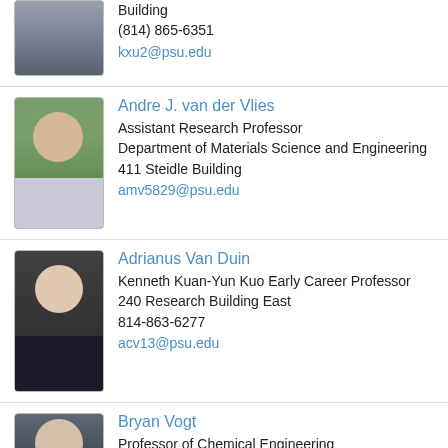[Figure (photo): Partial view of person in dark suit with red tie]
Building
(814) 865-6351
kxu2@psu.edu
[Figure (photo): Andre J. van der Vlies - man with long hair outdoors]
Andre J. van der Vlies
Assistant Research Professor
Department of Materials Science and Engineering
411 Steidle Building
amv5829@psu.edu
[Figure (photo): Adrianus Van Duin - man with glasses in suit]
Adrianus Van Duin
Kenneth Kuan-Yun Kuo Early Career Professor
240 Research Building East
814-863-6277
acv13@psu.edu
[Figure (photo): Bryan Vogt - partial photo visible]
Bryan Vogt
Professor of Chemical Engineering